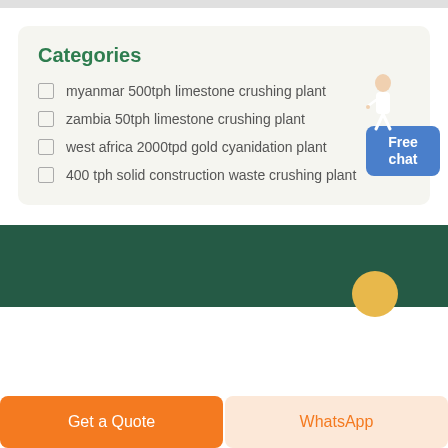Categories
myanmar 500tph limestone crushing plant
zambia 50tph limestone crushing plant
west africa 2000tpd gold cyanidation plant
400 tph solid construction waste crushing plant
Free chat
Get a Quote
WhatsApp